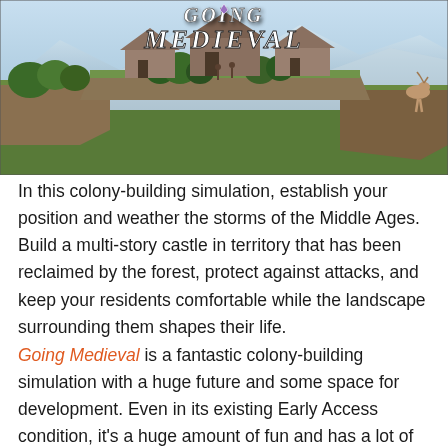[Figure (screenshot): Going Medieval game banner image showing a medieval colony settlement on raised cliff terrain with wooden buildings, greenery, and mountains in the background. White stylized text reads 'GOING MEDIEVAL' at the top.]
In this colony-building simulation, establish your position and weather the storms of the Middle Ages. Build a multi-story castle in territory that has been reclaimed by the forest, protect against attacks, and keep your residents comfortable while the landscape surrounding them shapes their life.
Going Medieval is a fantastic colony-building simulation with a huge future and some space for development. Even in its existing Early Access condition, it's a huge amount of fun and has a lot of